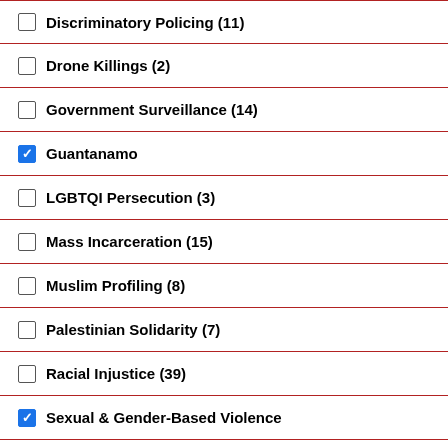Discriminatory Policing (11)
Drone Killings (2)
Government Surveillance (14)
Guantanamo [checked]
LGBTQI Persecution (3)
Mass Incarceration (15)
Muslim Profiling (8)
Palestinian Solidarity (7)
Racial Injustice (39)
Sexual & Gender-Based Violence [checked]